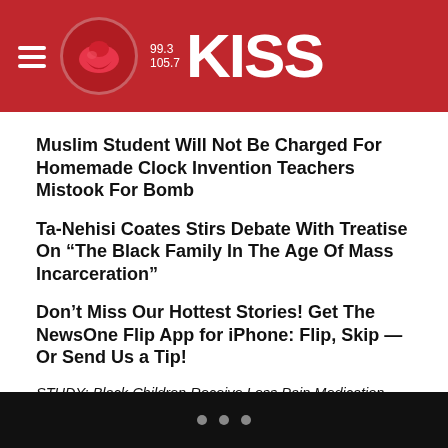99.3 / 105.7 KISS
Muslim Student Will Not Be Charged For Homemade Clock Invention Teachers Mistook For Bomb
Ta-Nehisi Coates Stirs Debate With Treatise On “The Black Family In The Age Of Mass Incarceration”
Don’t Miss Our Hottest Stories! Get The NewsOne Flip App for iPhone: Flip, Skip — Or Send Us a Tip!
STUDY: Black Children Receive Less Pain Medication Than White Children  was originally published on newsone.com
BLACK CHILDREN , BLACK YOUTH , DOCTORS , HEALTH CARE , HOSPITAL , MEDICINE , RACE , RACISM